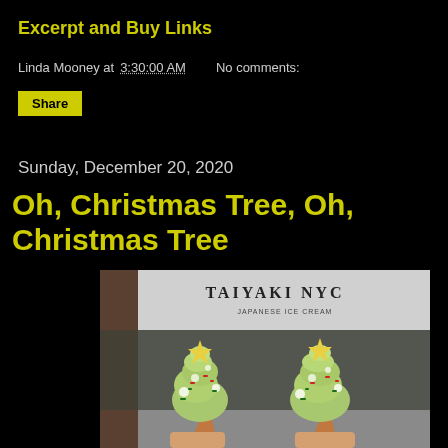Excerpt and Buy Links
Linda Mooney at 3:30:00 AM   No comments:
Share
Sunday, December 20, 2020
Oh, Christmas Tree, Oh, Christmas Tree
[Figure (photo): Two Christmas tree-shaped soft serve ice cream cones with green swirl, red and green sprinkles, and star-shaped cookies on top, held in front of a Taiyaki NYC Japanese Ice Cream storefront sign.]